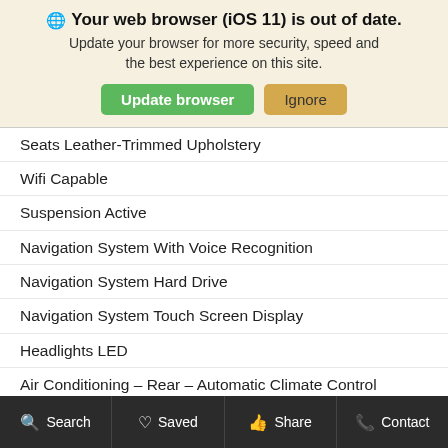[Figure (screenshot): Browser update warning banner with globe icon, bold title 'Your web browser (iOS 11) is out of date.', subtitle text, and two buttons: 'Update browser' (green) and 'Ignore' (tan/yellow)]
Seats Leather-Trimmed Upholstery
Wifi Capable
Suspension Active
Navigation System With Voice Recognition
Navigation System Hard Drive
Navigation System Touch Screen Display
Headlights LED
Air Conditioning – Rear – Automatic Climate Control
Lane Deviation Sensors
Air Conditioning – Front – Automatic Climate Control
Doors Rear Door Type: Power Liftgate
Air Conditioning – Front – Dual Zones
Driver Seat Power Adjustments: 8
Search   Saved   Share   Contact